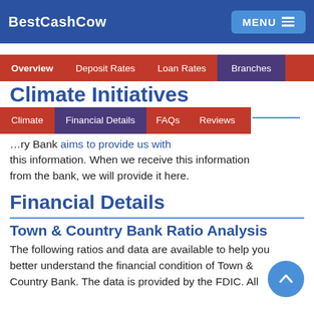BestCashCow
Climate Initiatives
Town & Country Bank aims to provide us with this information. When we receive this information from the bank, we will provide it here.
Financial Details
Town & Country Bank Ratio Analysis
The following ratios and data are available to help you better understand the financial condition of Town & Country Bank. The data is provided by the FDIC. All